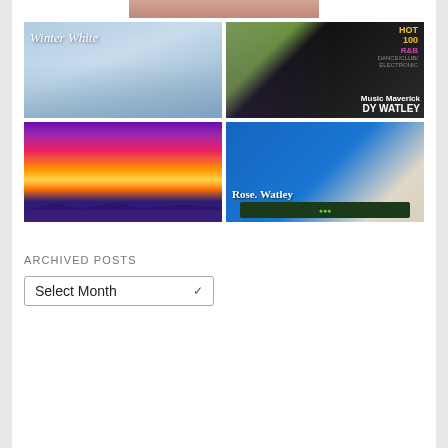[Figure (photo): Partial top crop of a photo, showing a person at top of page]
[Figure (photo): Winter White album/promotional image with two men in white clothing]
[Figure (photo): Billboard magazine cover featuring Jody Watley with HOT 100, R&B, Dance/Club/Electronic labels]
[Figure (photo): Colorful landscape photo with purple flowers, path, mountains and sunset sky in purple, pink, orange tones]
[Figure (photo): Rose Watley smiling, wearing blue shirt, holding an award plaque, with posters in background]
ARCHIVED POSTS
Select Month